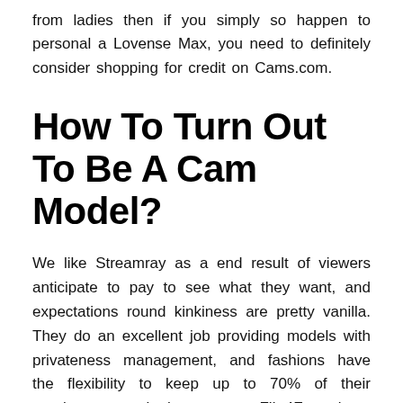from ladies then if you simply so happen to personal a Lovense Max, you need to definitely consider shopping for credit on Cams.com.
How To Turn Out To Be A Cam Model?
We like Streamray as a end result of viewers anticipate to pay to see what they want, and expectations round kinkiness are pretty vanilla. They do an excellent job providing models with privateness management, and fashions have the flexibility to keep up to 70% of their earnings as take-home pay. Flirt4Free is a strong cam site with a medium store of site visitors. Where it